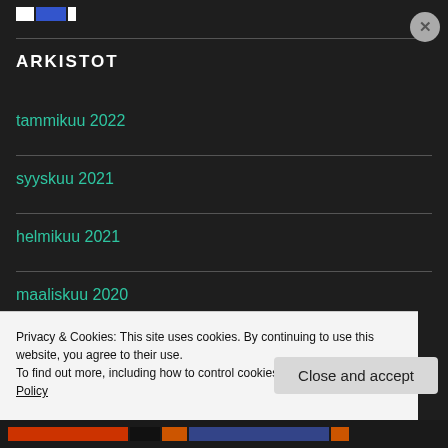ARKISTOT
tammikuu 2022
syyskuu 2021
helmikuu 2021
maaliskuu 2020
Privacy & Cookies: This site uses cookies. By continuing to use this website, you agree to their use.
To find out more, including how to control cookies, see here: Cookie Policy